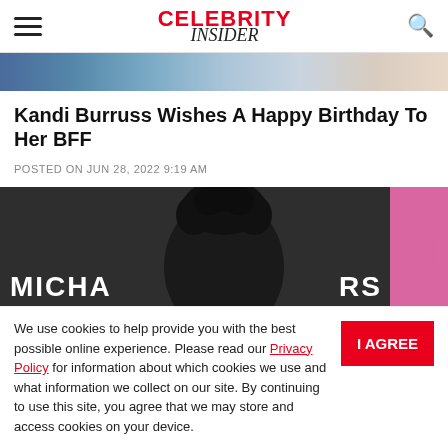CELEBRITY INSIDER
[Figure (photo): Top banner photo strip showing people at an event]
Kandi Burruss Wishes A Happy Birthday To Her BFF
POSTED ON JUN 28, 2022 9:19 AM
[Figure (photo): Person with curly dark hair in front of a dark backdrop with MICHAELS text and a pink M logo]
We use cookies to help provide you with the best possible online experience. Please read our Privacy Policy for information about which cookies we use and what information we collect on our site. By continuing to use this site, you agree that we may store and access cookies on your device.